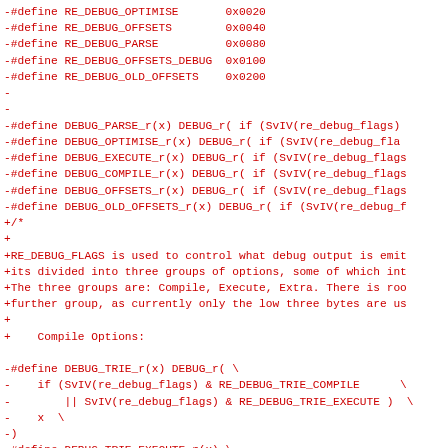-#define RE_DEBUG_OPTIMISE       0x0020
-#define RE_DEBUG_OFFSETS        0x0040
-#define RE_DEBUG_PARSE          0x0080
-#define RE_DEBUG_OFFSETS_DEBUG  0x0100
-#define RE_DEBUG_OLD_OFFSETS    0x0200
-
-
-#define DEBUG_PARSE_r(x) DEBUG_r( if (SvIV(re_debug_flags)
-#define DEBUG_OPTIMISE_r(x) DEBUG_r( if (SvIV(re_debug_fla
-#define DEBUG_EXECUTE_r(x) DEBUG_r( if (SvIV(re_debug_flags
-#define DEBUG_COMPILE_r(x) DEBUG_r( if (SvIV(re_debug_flags
-#define DEBUG_OFFSETS_r(x) DEBUG_r( if (SvIV(re_debug_flags
-#define DEBUG_OLD_OFFSETS_r(x) DEBUG_r( if (SvIV(re_debug_f
+/*
+
+RE_DEBUG_FLAGS is used to control what debug output is emit
+its divided into three groups of options, some of which int
+The three groups are: Compile, Execute, Extra. There is roo
+further group, as currently only the low three bytes are us
+
+    Compile Options:

-#define DEBUG_TRIE_r(x) DEBUG_r( \
-    if (SvIV(re_debug_flags) & RE_DEBUG_TRIE_COMPILE      \
-        || SvIV(re_debug_flags) & RE_DEBUG_TRIE_EXECUTE )  \
-    x  \
-)
-#define DEBUG_TRIE_EXECUTE_r(x) \
-    DEBUG_r( if (SvIV(re_debug_flags) & RE_DEBUG_TRIE_EXECU
+    PARSE
+    PEEP
+    TRIE